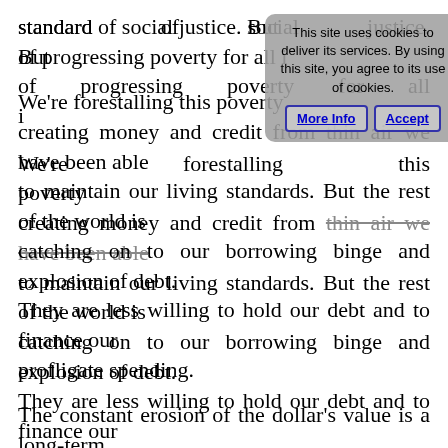standard of social justice. But the prospect of progressing poverty for all is real.
We're forestalling this poverty by creating money and credit from thin air we have been able to maintain our living standards. But the rest of the world is catching on to our borrowing binge and explosion of debt. They are less willing to hold our debt and to finance our profligate spending.
The constant erosion of the dollar's value is a long-term phenomenon. It's our contention that holding silver should also be for the long term. Even if silver were to suddenly double, the temptation to sell should be resisted. The dollar leaks air at an accelerating pace. Few things exist that will offset this chronic loss of purchasing power. No matter what your age, you should be gravely concerned
[Figure (screenshot): Cookie consent banner with text: 'This site uses cookies to deliver its services. By using this site, you agree to its use of cookies.' Two buttons: 'More Info' and 'Accept']